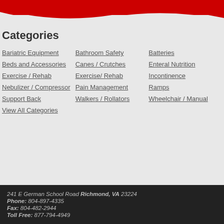[Figure (illustration): Red curved wave banner at top of page]
Categories
Bariatric Equipment
Bathroom Safety
Batteries
Beds and Accessories
Canes / Crutches
Enteral Nutrition
Exercise / Rehab
Exercise/ Rehab
Incontinence
Nebulizer / Compressor
Pain Management
Ramps
Support Back
Walkers / Rollators
Wheelchair / Manual
View All Categories
241 E German School Road Richmond, VA 23224 Phone: 804-897-4335 Fax: 804-482-2944 Toll Free: 877-794-4949